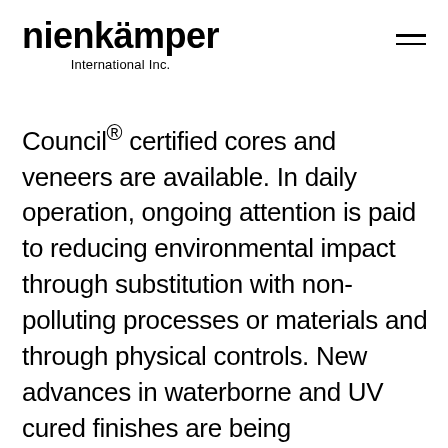nienkämper International Inc.
Council® certified cores and veneers are available. In daily operation, ongoing attention is paid to reducing environmental impact through substitution with non-polluting processes or materials and through physical controls. New advances in waterborne and UV cured finishes are being investigated for application to reduce solvent emissions. Solvent-based finishes are high solids sprayed through pressure pumps, leading to a significant reduction of solvent emission. Airborne solids are captured with